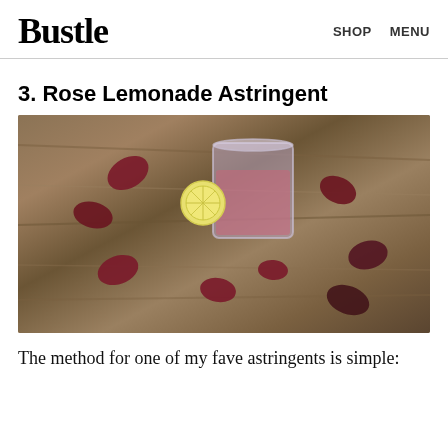Bustle   SHOP   MENU
3. Rose Lemonade Astringent
[Figure (photo): A glass jar filled with pink liquid (rose lemonade astringent) surrounded by dark red rose petals and a lemon slice, all placed on a rustic wooden surface.]
The method for one of my fave astringents is simple: